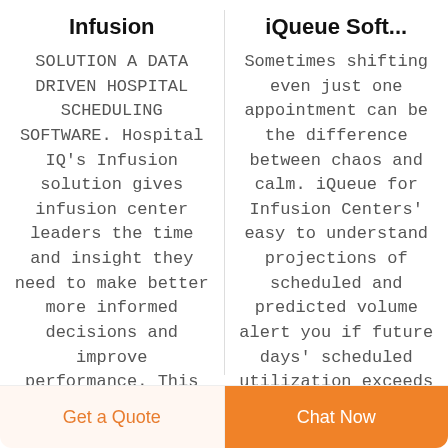Infusion
iQueue Soft...
SOLUTION A DATA DRIVEN HOSPITAL SCHEDULING SOFTWARE. Hospital IQ’s Infusion solution gives infusion center leaders the time and insight they need to make better more informed decisions and improve performance. This data driven
Sometimes shifting even just one appointment can be the difference between chaos and calm. iQueue for Infusion Centers’ easy to understand projections of scheduled and predicted volume alert you if future days’ scheduled utilization exceeds the resources
Get a Quote
Chat Now